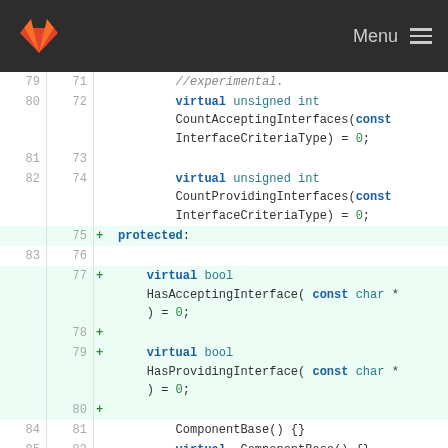[Figure (screenshot): GitLab navigation header bar with fox logo and Menu button]
Code diff view showing C++ virtual function declarations in a class. Lines 79-85 shown with old/new line numbers. Added lines (highlighted green) include: protected: section, virtual bool HasAcceptingInterface(const char *) = 0;, virtual bool HasProvidingInterface(const char *) = 0;. Unchanged lines include virtual unsigned int CountAcceptingInterfaces(const InterfaceCriteriaType) = 0; virtual unsigned int CountProvidingInterfaces(const InterfaceCriteriaType) = 0; ComponentBase() {} virtual ~ComponentBase() {}